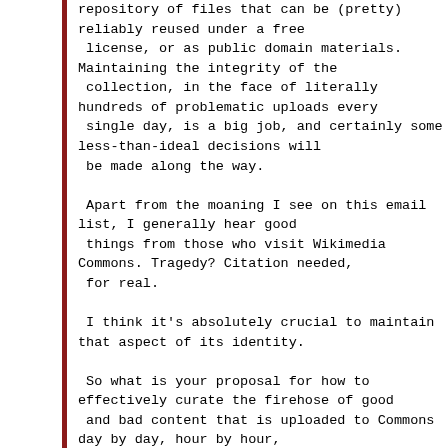repository of files that can be (pretty) reliably reused under a free license, or as public domain materials. Maintaining the integrity of the collection, in the face of literally hundreds of problematic uploads every single day, is a big job, and certainly some less-than-ideal decisions will be made along the way.

 Apart from the moaning I see on this email list, I generally hear good things from those who visit Wikimedia Commons. Tragedy? Citation needed, for real.

 I think it's absolutely crucial to maintain that aspect of its identity.

 So what is your proposal for how to effectively curate the firehose of good and bad content that is uploaded to Commons day by day, hour by hour,